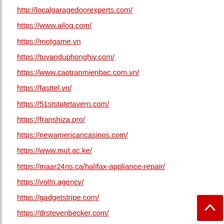http://localgaragedoorexperts.com/
https://www.ailoq.com/
https://motgame.vn
https://tuvanduphonghiv.com/
https://www.caotranmienbac.com.vn/
https://fasttel.vn/
https://51ststatetavern.com/
https://franshiza.pro/
https://newamericancasinos.com/
https://www.mut.ac.ke/
https://maar24ns.ca/halifax-appliance-repair/
https://voltn.agency/
https://gadgetstripe.com/
https://drstevenbecker.com/
https://gadgetstripe.com/